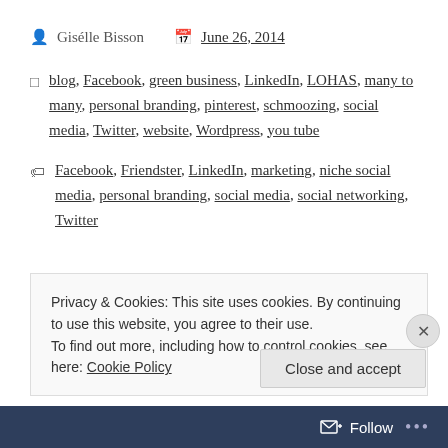Gisélle Bisson   June 26, 2014
blog, Facebook, green business, LinkedIn, LOHAS, many to many, personal branding, pinterest, schmoozing, social media, Twitter, website, Wordpress, you tube
Facebook, Friendster, LinkedIn, marketing, niche social media, personal branding, social media, social networking, Twitter
Privacy & Cookies: This site uses cookies. By continuing to use this website, you agree to their use.
To find out more, including how to control cookies, see here: Cookie Policy
Close and accept
Follow ...